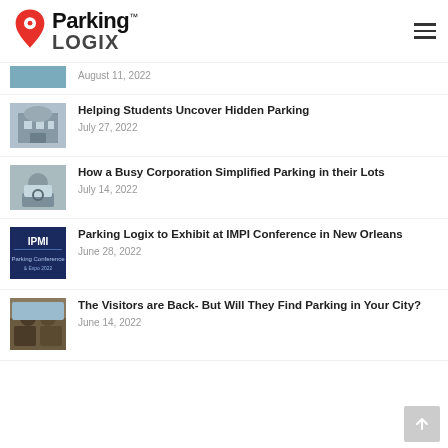Parking Logix
[Figure (photo): Partial thumbnail image at top, partially visible]
August 11, 2022
[Figure (photo): Thumbnail of a building (university/school)]
Helping Students Uncover Hidden Parking
July 27, 2022
[Figure (photo): Thumbnail of a person driving a car]
How a Busy Corporation Simplified Parking in their Lots
July 14, 2022
[Figure (photo): Thumbnail of IPMI conference graphic]
Parking Logix to Exhibit at IMPI Conference in New Orleans
June 28, 2022
[Figure (photo): Thumbnail of visitors in a car]
The Visitors are Back- But Will They Find Parking in Your City?
June 14, 2022